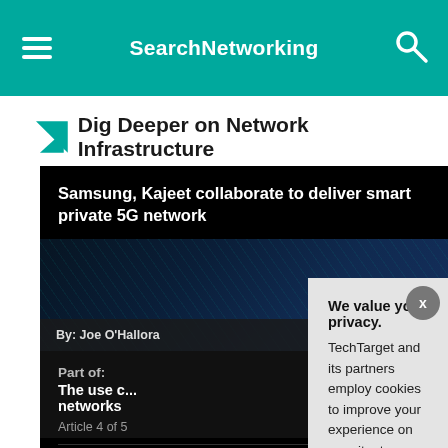SearchNetworking
Dig Deeper on Network Infrastructure
Samsung, Kajeet collaborate to deliver smart private 5G network
By: Joe O'Hallora...
Part of: The use c... networks
Article 4 of 5
Up N... Integ... into p...
We value your privacy. TechTarget and its partners employ cookies to improve your experience on our site, to analyze traffic and performance, and to serve personalized content and advertising that are relevant to your professional interests. You can manage your settings at any time. Please view our Privacy Policy for more information